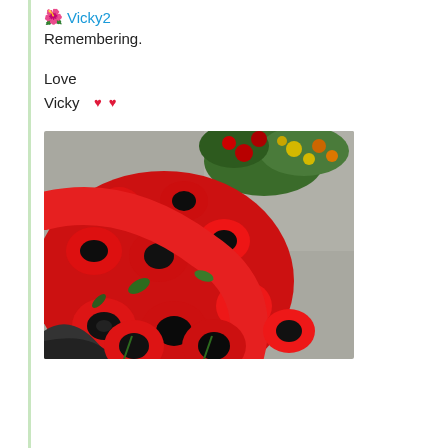🌺 Vicky2
Remembering.

Love
Vicky 💕
[Figure (photo): A close-up photograph of a large wreath or display of red artificial poppies with black centres, with colourful real flowers (red, yellow, green) visible in the upper background on a grey stone surface.]